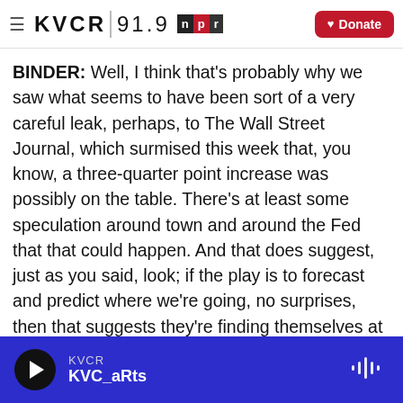KVCR 91.9 NPR | Donate
BINDER: Well, I think that's probably why we saw what seems to have been sort of a very careful leak, perhaps, to The Wall Street Journal, which surmised this week that, you know, a three-quarter point increase was possibly on the table. There's at least some speculation around town and around the Fed that that could happen. And that does suggest, just as you said, look; if the play is to forecast and predict where we're going, no surprises, then that suggests they're finding themselves at a much worse point economically than they thought they were the last time they met.
KVCR KVC_aRts